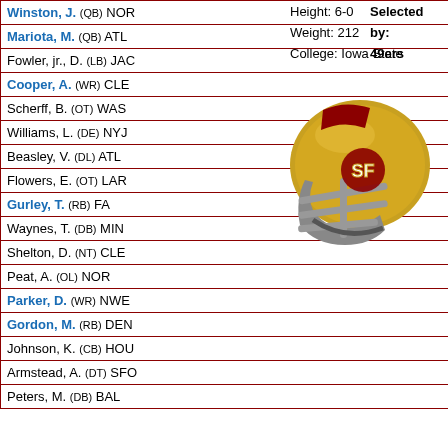| Player | Pick |
| --- | --- |
| Winston, J. (QB) NOR | 1:1 |
| Mariota, M. (QB) ATL | 1:2 |
| Fowler, jr., D. (LB) JAC | 1:3 |
| Cooper, A. (WR) CLE | 1:4 |
| Scherff, B. (OT) WAS | 1:5 |
| Williams, L. (DE) NYJ | 1:6 |
| Beasley, V. (DL) ATL | 1:8 |
| Flowers, E. (OT) LAR | 1:9 |
| Gurley, T. (RB) FA | 1:10 |
| Waynes, T. (DB) MIN | 1:11 |
| Shelton, D. (NT) CLE | 1:12 |
| Peat, A. (OL) NOR | 1:13 |
| Parker, D. (WR) NWE | 1:14 |
| Gordon, M. (RB) DEN | 1:15 |
| Johnson, K. (CB) HOU | 1:16 |
| Armstead, A. (DT) SFO | 1:17 |
| Peters, M. (DB) BAL | 1:18 |
Height: 6-0
Weight: 212
College: Iowa State
Selected by: 49ers
[Figure (illustration): San Francisco 49ers gold football helmet with red stripe and facemask]